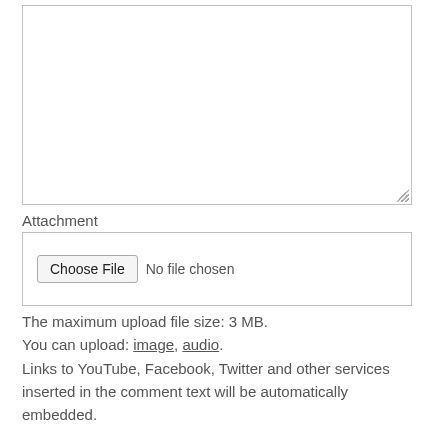[Figure (screenshot): A textarea input box (empty, resizable) for comment text entry]
Attachment
[Figure (screenshot): A file input area with 'Choose File' button and 'No file chosen' label]
The maximum upload file size: 3 MB.
You can upload: image, audio.
Links to YouTube, Facebook, Twitter and other services inserted in the comment text will be automatically embedded.